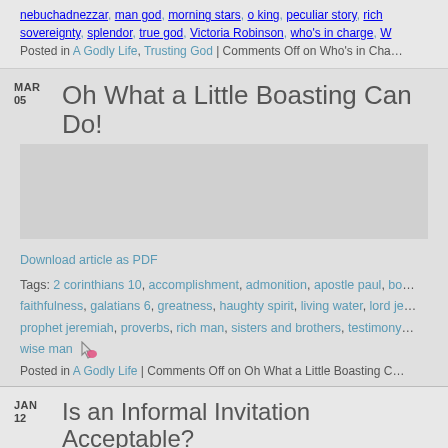nebuchadnezzar, man god, morning stars, o king, peculiar story, rich... sovereignty, splendor, true god, Victoria Robinson, who's in charge, W...
Posted in A Godly Life, Trusting God | Comments Off on Who's in Cha...
Oh What a Little Boasting Can Do!
MAR 05
[Figure (photo): Gray image placeholder area]
Download article as PDF
Tags: 2 corinthians 10, accomplishment, admonition, apostle paul, bo... faithfulness, galatians 6, greatness, haughty spirit, living water, lord je... prophet jeremiah, proverbs, rich man, sisters and brothers, testimony... wise man
Posted in A Godly Life | Comments Off on Oh What a Little Boasting C...
Is an Informal Invitation Acceptable?
JAN 12